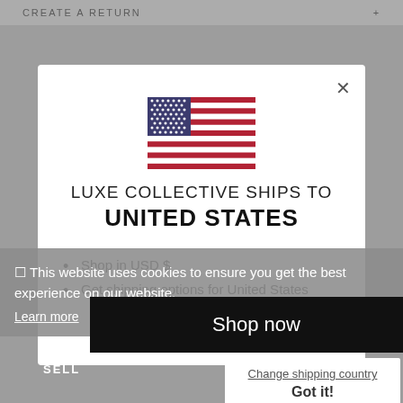CREATE A RETURN
[Figure (illustration): US flag icon]
LUXE COLLECTIVE SHIPS TO UNITED STATES
Shop in USD $
Get shipping options for United States
This website uses cookies to ensure you get the best experience on our website.
Learn more
Shop now
Change shipping country
Got it!
SELL